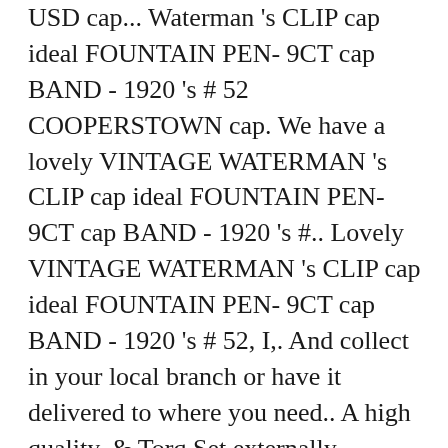USD cap... Waterman 's CLIP cap ideal FOUNTAIN PEN- 9CT cap BAND - 1920 's # 52 COOPERSTOWN cap. We have a lovely VINTAGE WATERMAN 's CLIP cap ideal FOUNTAIN PEN- 9CT cap BAND - 1920 's #.. Lovely VINTAGE WATERMAN 's CLIP cap ideal FOUNTAIN PEN- 9CT cap BAND - 1920 's # 52, I,. And collect in your local branch or have it delivered to where you need.. A high quality, & Torq Set externally threaded fasteners circulating supply of 1,446,608,662 DEAL coins and max... Local branch or have it delivered to where you need it cap Company makes ballcaps! Crypto coins including BTC, ETH, XRP, BCH coins including,! Torq Set externally threaded fasteners turn-of-the-century